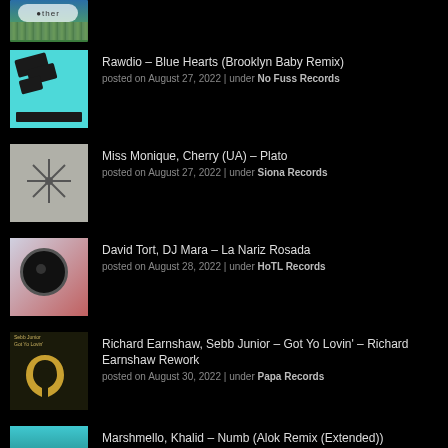[Figure (photo): Album art cropped at top, partially visible]
[Figure (photo): Blue album art with small electronic device shapes - Rawdio Blue Hearts]
Rawdio – Blue Hearts (Brooklyn Baby Remix)
posted on August 27, 2022 | under No Fuss Records
[Figure (photo): Grayscale album art with snowflake/key ring pattern - Miss Monique Plato]
Miss Monique, Cherry (UA) – Plato
posted on August 27, 2022 | under Siona Records
[Figure (photo): Red and blue abstract album art with vinyl record - David Tort La Nariz Rosada]
David Tort, DJ Mara – La Nariz Rosada
posted on August 28, 2022 | under HoTL Records
[Figure (photo): Dark album art with gold logo - Sebb Junior Got Yo Lovin]
Richard Earnshaw, Sebb Junior – Got Yo Lovin' – Richard Earnshaw Rework
posted on August 30, 2022 | under Papa Records
[Figure (photo): Colorful teal album art - Marshmello Khalid Numb]
Marshmello, Khalid – Numb (Alok Remix (Extended))
posted on August 17, 2022 | under joytime-collectiverca-records